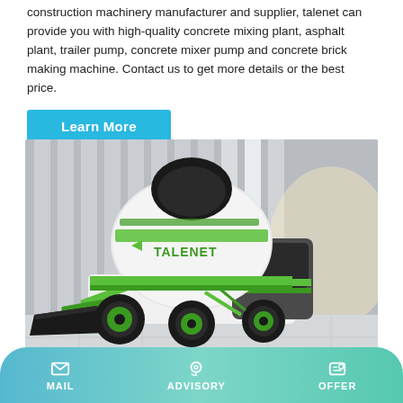construction machinery manufacturer and supplier, talenet can provide you with high-quality concrete mixing plant, asphalt plant, trailer pump, concrete mixer pump and concrete brick making machine. Contact us to get more details or the best price.
Learn More
[Figure (photo): A green and white TALENET self-loading concrete mixer truck with a front-mounted loading bucket, parked in an industrial setting with grey architectural panels in background.]
MAIL   ADVISORY   OFFER